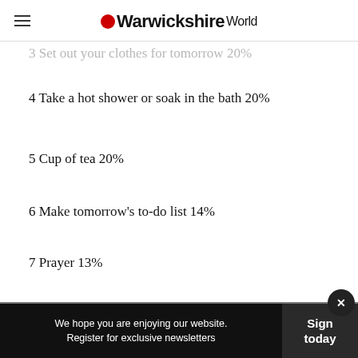Warwickshire World
3 Set out your clothes for tomorrow  20%
4 Take a hot shower or soak in the bath  20%
5 Cup of tea  20%
6 Make tomorrow's to-do list  14%
7 Prayer  13%
8 Meditate  11%
We hope you are enjoying our website. Register for exclusive newsletters
Sign today